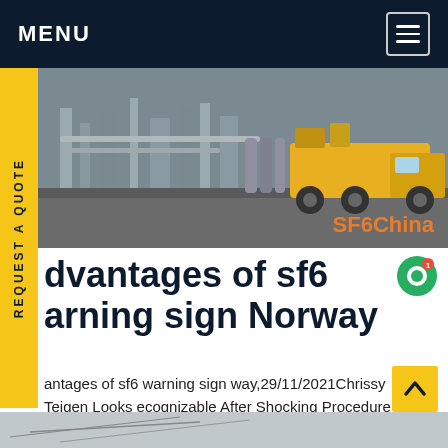MENU
[Figure (photo): Industrial scene with yellow trucks and machinery, watermarked SF6China]
dvantages of sf6 arning sign Norway
antages of sf6 warning sign way,29/11/2021Chrissy Teigen Looks ecognizable After Shocking Procedure And Her rning To Fans. Chrissy Teigen just revealed that she underwent eyebrow transplant surgery, and even shared pictures of theGet price